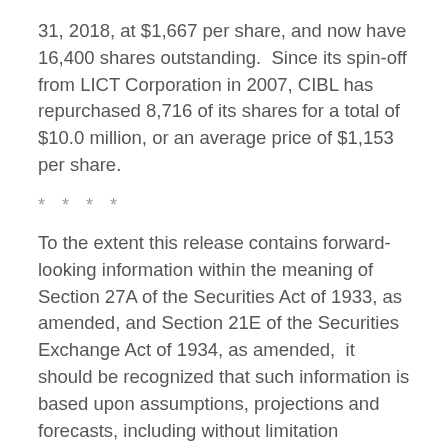31, 2018, at $1,667 per share, and now have 16,400 shares outstanding.  Since its spin-off from LICT Corporation in 2007, CIBL has repurchased 8,716 of its shares for a total of $10.0 million, or an average price of $1,153 per share.
* * * *
To the extent this release contains forward-looking information within the meaning of Section 27A of the Securities Act of 1933, as amended, and Section 21E of the Securities Exchange Act of 1934, as amended,  it should be recognized that such information is based upon assumptions, projections and forecasts, including without limitation business conditions and financial markets, and the cautionary